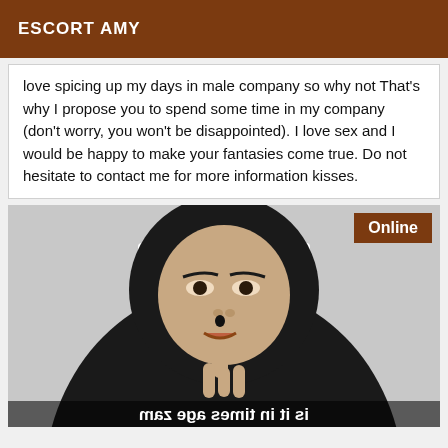ESCORT AMY
love spicing up my days in male company so why not That's why I propose you to spend some time in my company (don't worry, you won't be disappointed). I love sex and I would be happy to make your fantasies come true. Do not hesitate to contact me for more information kisses.
[Figure (photo): Black and white photograph of a woman in a nun's habit holding her finger to her lips, with mirrored text at the bottom reading 'is it in times age zam'. An 'Online' badge appears in the top-right corner.]